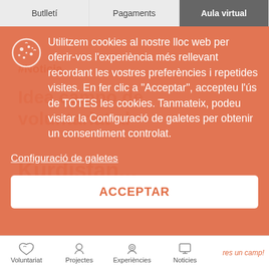Butlletí | Pagaments | Aula virtual
[Figure (screenshot): Cookie consent overlay on a Catalan website. Orange rounded overlay with cookie icon, cookie consent text in Catalan, a 'Configuració de galetes' link, and an ACCEPTAR button. Background shows website content partially visible.]
Utilitzem cookies al nostre lloc web per oferir-vos l'experiència més rellevant recordant les vostres preferències i repetides visites. En fer clic a "Acceptar", accepteu l'ús de TOTES les cookies. Tanmateix, podeu visitar la Configuració de galetes per obtenir un consentiment controlat.
Configuració de galetes
ACCEPTAR
Voluntariat | Projectes | Experiències | Noticies | res un camp!